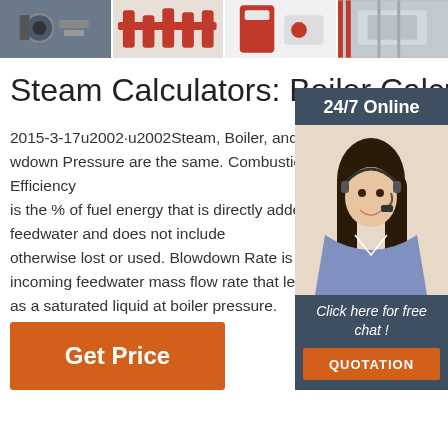[Figure (photo): Strip of four boiler/industrial equipment photos at the top of the page]
Steam Calculators: Boiler Calculator
2015-3-17u2002·u2002Steam, Boiler, and Blowdown Pressure are the same. Combustion Efficiency is the % of fuel energy that is directly added to the feedwater and does not include otherwise lost or used. Blowdown Rate is the % of incoming feedwater mass flow rate that leaves the boiler as a saturated liquid at boiler pressure.
[Figure (photo): Customer service woman with headset — 24/7 Online chat widget sidebar]
Get Price
Click here for free chat !
QUOTATION